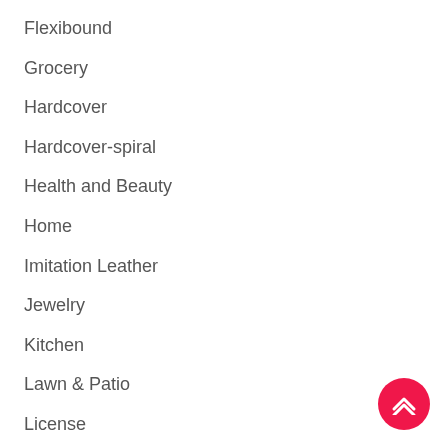Flexibound
Grocery
Hardcover
Hardcover-spiral
Health and Beauty
Home
Imitation Leather
Jewelry
Kitchen
Lawn & Patio
License
Luggage
Mass Market Paperback